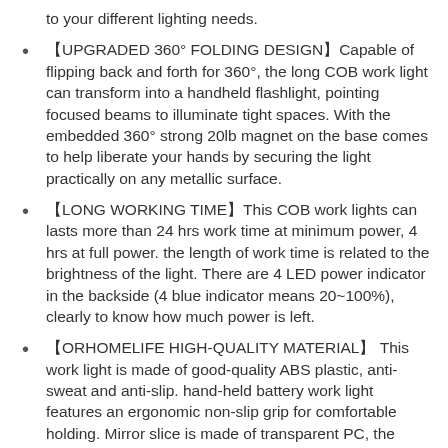to your different lighting needs.
【UPGRADED 360° FOLDING DESIGN】Capable of flipping back and forth for 360°, the long COB work light can transform into a handheld flashlight, pointing focused beams to illuminate tight spaces. With the embedded 360° strong 20lb magnet on the base comes to help liberate your hands by securing the light practically on any metallic surface.
【LONG WORKING TIME】This COB work lights can lasts more than 24 hrs work time at minimum power, 4 hrs at full power. the length of work time is related to the brightness of the light. There are 4 LED power indicator in the backside (4 blue indicator means 20~100%), clearly to know how much power is left.
【ORHOMELIFE HIGH-QUALITY MATERIAL】 This work light is made of good-quality ABS plastic, anti-sweat and anti-slip. hand-held battery work light features an ergonomic non-slip grip for comfortable holding. Mirror slice is made of transparent PC, the head is eco-friendly and energy saving which dissipates the heat effectively, long lifespan of the lamp.
【PORTABLE & CORDLESS OPERATION】Unlike traditional work lights, this multi-functional cordless COB work light ensure excellent running time and